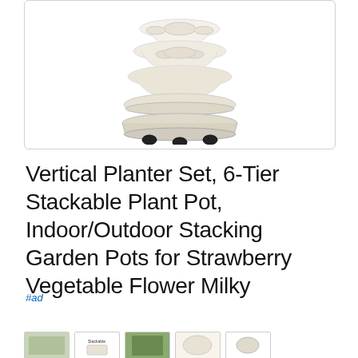[Figure (photo): Product photo of a white/milky vertical stackable planter set with multiple tiers, shown assembled on a wheeled base with black caster wheels, against white background]
Vertical Planter Set, 6-Tier Stackable Plant Pot, Indoor/Outdoor Stacking Garden Pots for Strawberry Vegetable Flower Milky
#ad
As an Amazon Associate I earn from qualifying purchases. This website uses the only necessary cookies to ensure you get the best experience on our website. More information
[Figure (photo): Thumbnail images of related planter products in a row at the bottom]